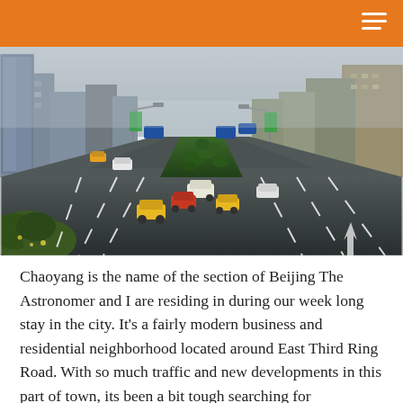[Figure (photo): Wide multi-lane urban highway in Chaoyang district, Beijing, with cars and taxis in motion, lined by tall modern skyscrapers on both sides and a green median divider in the center. Hazy sky in the background.]
Chaoyang is the name of the section of Beijing The Astronomer and I are residing in during our week long stay in the city. It’s a fairly modern business and residential neighborhood located around East Third Ring Road. With so much traffic and new developments in this part of town, its been a bit tough searching for delicious...